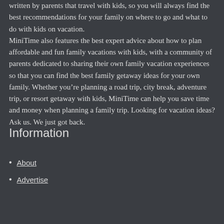written by parents that travel with kids, so you will always find the best recommendations for your family on where to go and what to do with kids on vacation. MiniTime also features the best expert advice about how to plan affordable and fun family vacations with kids, with a community of parents dedicated to sharing their own family vacation experiences so that you can find the best family getaway ideas for your own family. Whether you're planning a road trip, city break, adventure trip, or resort getaway with kids, MiniTime can help you save time and money when planning a family trip. Looking for vacation ideas? Ask us. We just got back.
Information
About
Advertise